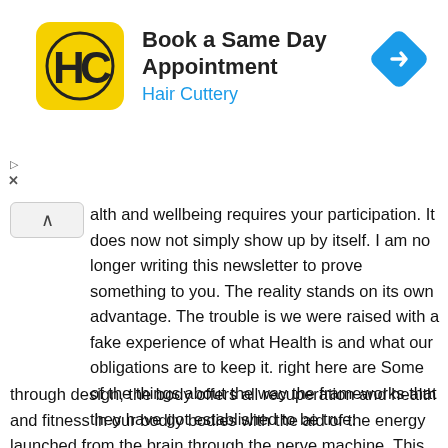[Figure (logo): Hair Cuttery advertisement banner with yellow HC logo, text 'Book a Same Day Appointment' and 'Hair Cuttery' in blue, and a blue diamond navigation arrow icon on the right.]
alth and wellbeing requires your participation. It does now not simply show up by itself. I am no longer writing this newsletter to prove something to you. The reality stands on its own advantage. The trouble is we were raised with a fake experience of what Health is and what our obligations are to keep it. right here are Some of the things about the way the frameworks that they have got established to be true:
through design, the body offers all recuperation and health and fitness in our bodily bodies with the aid of the energy launched from the brain through the nerve machine. This is how recovery occurs in our bodily bodies. Healing records from the brain are released through the nervous machine